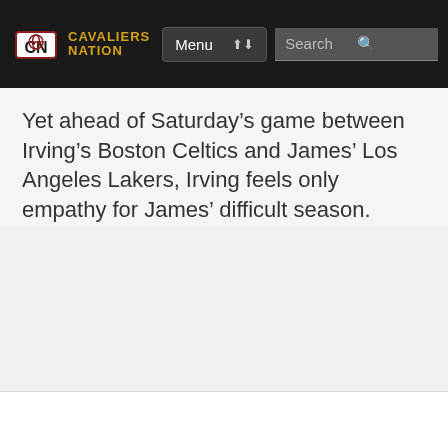Cavaliers Nation | Menu | Search
Yet ahead of Saturday’s game between Irving’s Boston Celtics and James’ Los Angeles Lakers, Irving feels only empathy for James’ difficult season.